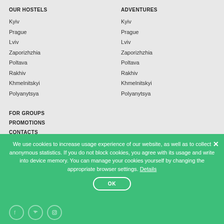OUR HOSTELS
Kyiv
Prague
Lviv
Zaporizhzhia
Poltava
Rakhiv
Khmelnitskyi
Polyanytsya
ADVENTURES
Kyiv
Prague
Lviv
Zaporizhzhia
Poltava
Rakhiv
Khmelnitskyi
Polyanytsya
FOR GROUPS
PROMOTIONS
CONTACTS
TERMS AND CONDITIONS  PRIVACY POLICY  CERTIFICATE  WBC
We use cookies to increase usage experience of our website, as well as to collect anonymous statistics. If you do not block cookies, you agree with its usage and write into device memory. You can manage your cookies yourself by changing the appropriate browser settings. Details